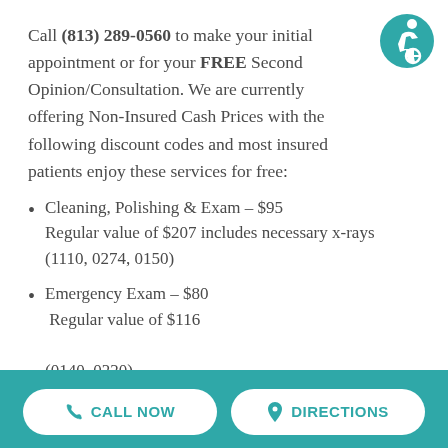Call (813) 289-0560 to make your initial appointment or for your FREE Second Opinion/Consultation. We are currently offering Non-Insured Cash Prices with the following discount codes and most insured patients enjoy these services for free:
Cleaning, Polishing & Exam – $95 Regular value of $207 includes necessary x-rays (1110, 0274, 0150)
Emergency Exam – $80 Regular value of $116 (0140, 0220)
CALL NOW   DIRECTIONS